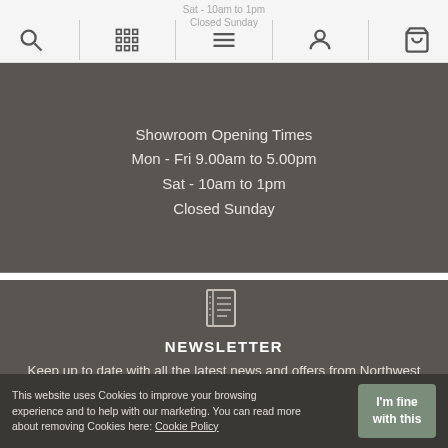Sat - 10am to 1pm  Closed Sunday
Showroom Opening Times
Mon - Fri 9.00am to 5.00pm
Sat - 10am to 1pm
Closed Sunday
[Figure (illustration): Newsletter icon — a newspaper/document icon]
NEWSLETTER
Keep up to date with all the latest news and offers from Northwest Floors
your email address
Submit
This website uses Cookies to improve your browsing experience and to help with our marketing. You can read more about removing Cookies here: Cookie Policy
I'm fine with this